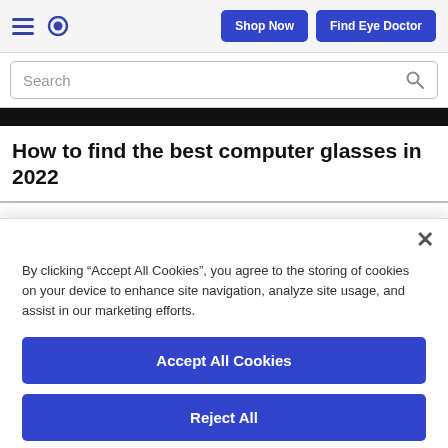Shop Now | Find Eye Doctor
Search
How to find the best computer glasses in 2022
By clicking “Accept All Cookies”, you agree to the storing of cookies on your device to enhance site navigation, analyze site usage, and assist in our marketing efforts.
Accept All Cookies
Reject All
Cookies Settings